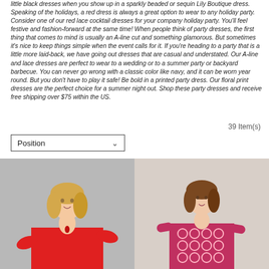little black dresses when you show up in a sparkly beaded or sequin Lily Boutique dress. Speaking of the holidays, a red dress is always a great option to wear to any holiday party. Consider one of our red lace cocktail dresses for your company holiday party. You'll feel festive and fashion-forward at the same time! When people think of party dresses, the first thing that comes to mind is usually an A-line cut and something glamorous. But sometimes it's nice to keep things simple when the event calls for it. If you're heading to a party that is a little more laid-back, we have going out dresses that are casual and understated. Our A-line and lace dresses are perfect to wear to a wedding or to a summer party or backyard barbecue. You can never go wrong with a classic color like navy, and it can be worn year round. But you don't have to play it safe! Be bold in a printed party dress. Our floral print dresses are the perfect choice for a summer night out. Shop these party dresses and receive free shipping over $75 within the US.
39 Item(s)
Position
[Figure (photo): Model wearing a red long-sleeve dress with keyhole neckline, standing against grey background]
[Figure (photo): Model wearing a pink/red lace long-sleeve dress with circular lace pattern, standing against light background]